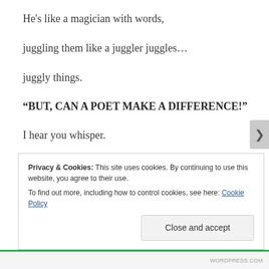He's like a magician with words,
juggling them like a juggler juggles…
juggly things.
“BUT, CAN A POET MAKE A DIFFERENCE!”
I hear you whisper.
Well, give him a selection of vowels and consonants,
Privacy & Cookies: This site uses cookies. By continuing to use this website, you agree to their use.
To find out more, including how to control cookies, see here: Cookie Policy
Close and accept